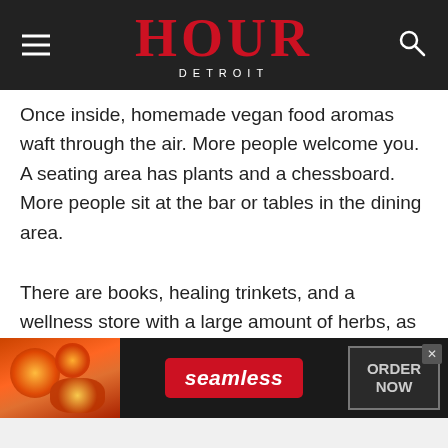HOUR DETROIT
Once inside, homemade vegan food aromas waft through the air. More people welcome you. A seating area has plants and a chessboard. More people sit at the bar or tables in the dining area.
There are books, healing trinkets, and a wellness store with a large amount of herbs, as well as organic and non-GMO household products.
[Figure (photo): Partial photo strip of people, background scene related to article]
[Figure (screenshot): Seamless food delivery advertisement banner with pizza image on left, Seamless logo in red center, and ORDER NOW button on right with close X button]